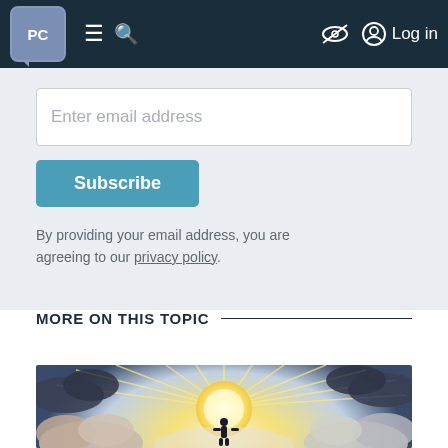PC [logo] navigation bar with menu, search, hide, and Log in
Enter email address
Subscribe
By providing your email address, you are agreeing to our privacy policy.
MORE ON THIS TOPIC
[Figure (illustration): Illustrated image of a person standing on clouds with sunrays beaming behind a large glowing sun, surrounded by dramatic storm clouds — editorial illustration style]